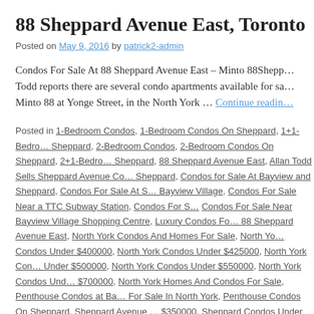88 Sheppard Avenue East, Toronto
Posted on May 9, 2016 by patrick2-admin
Condos For Sale At 88 Sheppard Avenue East – Minto 88Sheppard … Todd reports there are several condo apartments available for sale at Minto 88 at Yonge Street, in the North York … Continue reading
Posted in 1-Bedroom Condos, 1-Bedroom Condos On Sheppard, 1+1-Bedroom Condos On Sheppard, 2-Bedroom Condos, 2-Bedroom Condos On Sheppard, 2+1-Bedroom Condos On Sheppard, 88 Sheppard Avenue East, Allan Todd Sells Sheppard Avenue Condos On Sheppard, Condos for Sale At Bayview and Sheppard, Condos For Sale At S Bayview Village, Condos For Sale Near a TTC Subway Station, Condos For S Condos For Sale Near Bayview Village Shopping Centre, Luxury Condos For 88 Sheppard Avenue East, North York Condos And Homes For Sale, North York Condos Under $400000, North York Condos Under $425000, North York Condos Under $500000, North York Condos Under $550000, North York Condos Under $700000, North York Homes And Condos For Sale, Penthouse Condos at Bayview For Sale In North York, Penthouse Condos On Sheppard, Sheppard Avenue Condos Under $350000, Sheppard Condos Under $400000, Sheppard Condos Under $425000, Sheppard Condos Under $500000, Sheppard Condos Under $550000, Sheppard Condos Under $700000, Toronto Condos For Sale, Toronto Condos Under $350000, Toronto Condos Under $425000, Toronto Condos Under $450000, Toronto Condos Under …